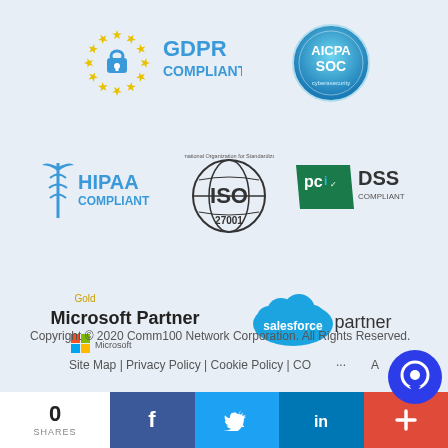[Figure (logo): GDPR Compliant badge with EU stars circle and lock icon]
[Figure (logo): AICPA SOC certification badge]
[Figure (logo): HIPAA Compliant badge with caduceus icon]
[Figure (logo): ISO 27001 certification badge]
[Figure (logo): PCI DSS Compliant badge]
[Figure (logo): Gold Microsoft Partner badge]
[Figure (logo): Salesforce partner badge]
Copyright © 2020 Comm100 Network Corporation. All Rights Reserved.
Site Map | Privacy Policy | Cookie Policy | CO...A
0 SHARES | Facebook | Twitter | LinkedIn | +